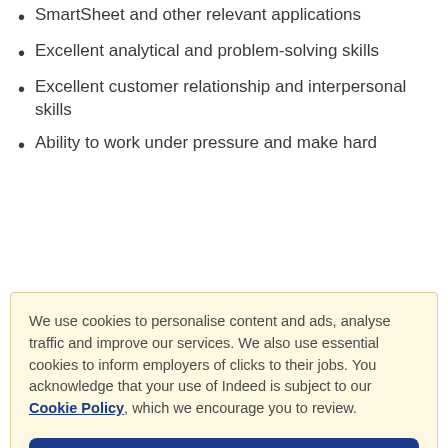SmartSheet and other relevant applications
Excellent analytical and problem-solving skills
Excellent customer relationship and interpersonal skills
Ability to work under pressure and make hard
We use cookies to personalise content and ads, analyse traffic and improve our services. We also use essential cookies to inform employers of clicks to their jobs. You acknowledge that your use of Indeed is subject to our Cookie Policy, which we encourage you to review.
Cookies Settings
Reject All
Accept All Cookies